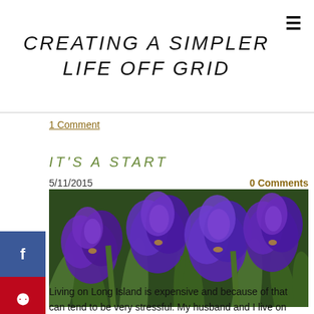CREATING A SIMPLER LIFE OFF GRID
1 Comment
IT'S A START
5/11/2015    0 Comments
[Figure (photo): Purple iris flowers blooming in a garden with green foliage background]
Living on Long Island is expensive and because of that can tend to be very stressful. My husband and I live on